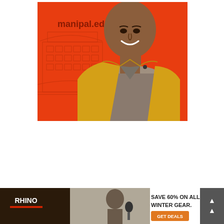[Figure (photo): Advertisement photo: A smiling young man wearing a yellow hoodie over a gray t-shirt, posed against a bright orange-red background with a building illustration and the text 'manipal.edu' visible behind him.]
[Figure (photo): Advertisement banner for Rhino brand: partially visible, showing a person holding a microphone on the left, and text 'SAVE 60% ON ALL WINTER GEAR.' with a 'GET DEALS' orange button on the right.]